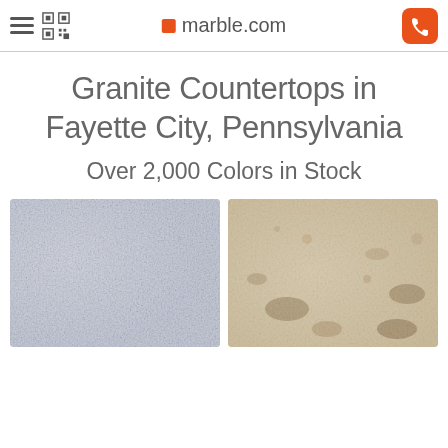marble.com
Granite Countertops in Fayette City, Pennsylvania
Over 2,000 Colors in Stock
[Figure (photo): Two granite countertop samples side by side — left: light blue-grey granite texture; right: warm cream/beige granite with brown veining]